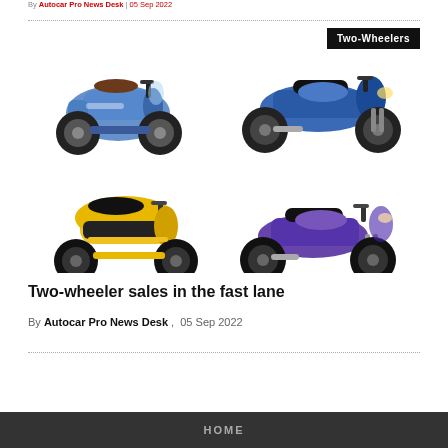By Autocar Pro News Desk | 05 Sep 2022
[Figure (photo): Four two-wheeler vehicles arranged in a 2x2 grid: top-left is a blue scooter, top-right is a blue sports motorcycle, bottom-left is a yellow-black scooter, bottom-right is a purple-blue motorcycle. A black badge in the top-right corner reads 'Two-Wheelers'.]
Two-wheeler sales in the fast lane
By Autocar Pro News Desk , 05 Sep 2022
HOME